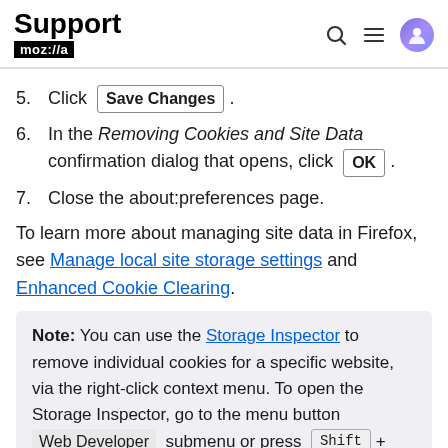Support mozilla// [search icon] [menu icon] [avatar]
5. Click Save Changes .
6. In the Removing Cookies and Site Data confirmation dialog that opens, click OK .
7. Close the about:preferences page.
To learn more about managing site data in Firefox, see Manage local site storage settings and Enhanced Cookie Clearing.
Note: You can use the Storage Inspector to remove individual cookies for a specific website, via the right-click context menu. To open the Storage Inspector, go to the menu button Web Developer submenu or press Shift + F9 on the keyboard.